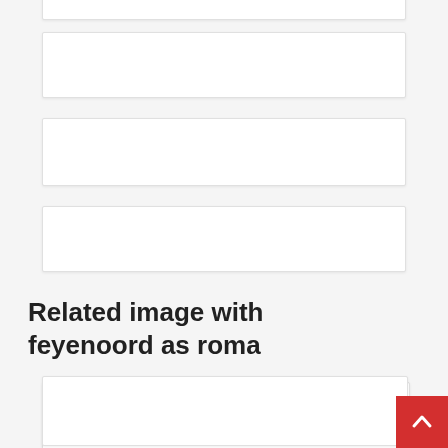[Figure (other): Empty white input/content box (partially visible at top)]
[Figure (other): Empty white input/content box]
[Figure (other): Empty white input/content box]
Related image with feyenoord as roma
[Figure (other): Empty white input/content box]
[Figure (other): Empty white input/content box (partially visible at bottom)]